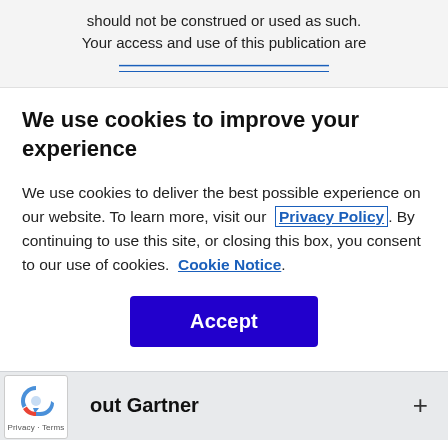should not be construed or used as such. Your access and use of this publication are
We use cookies to improve your experience
We use cookies to deliver the best possible experience on our website. To learn more, visit our Privacy Policy. By continuing to use this site, or closing this box, you consent to our use of cookies. Cookie Notice.
[Figure (other): Blue Accept button for cookie consent]
[Figure (other): reCAPTCHA logo widget with Privacy and Terms text]
out Gartner